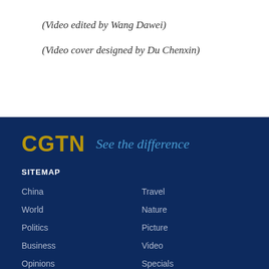(Video edited by Wang Dawei)
(Video cover designed by Du Chenxin)
[Figure (logo): CGTN logo with text 'See the difference' tagline on dark navy background]
SITEMAP
China
Travel
World
Nature
Politics
Picture
Business
Video
Opinions
Specials